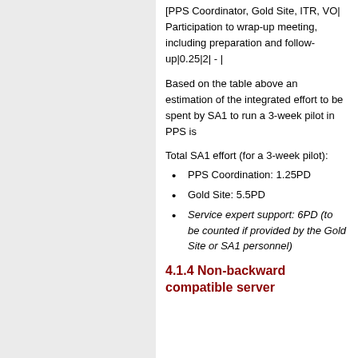[PPS Coordinator, Gold Site, ITR, VO| Participation to wrap-up meeting, including preparation and follow-up|0.25|2| - |
Based on the table above an estimation of the integrated effort to be spent by SA1 to run a 3-week pilot in PPS is
Total SA1 effort (for a 3-week pilot):
PPS Coordination: 1.25PD
Gold Site: 5.5PD
Service expert support: 6PD (to be counted if provided by the Gold Site or SA1 personnel)
4.1.4 Non-backward compatible server